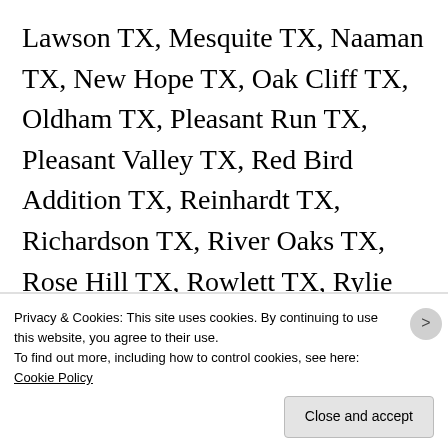Lawson TX, Mesquite TX, Naaman TX, New Hope TX, Oak Cliff TX, Oldham TX, Pleasant Run TX, Pleasant Valley TX, Red Bird Addition TX, Reinhardt TX, Richardson TX, River Oaks TX, Rose Hill TX, Rowlett TX, Rylie TX, Sachse TX, Sargent TX, Seagoville TX, Shady Grove TX, Shamrock TX. Shiloh TX. Sowers TX.
Privacy & Cookies: This site uses cookies. By continuing to use this website, you agree to their use.
To find out more, including how to control cookies, see here: Cookie Policy
Close and accept